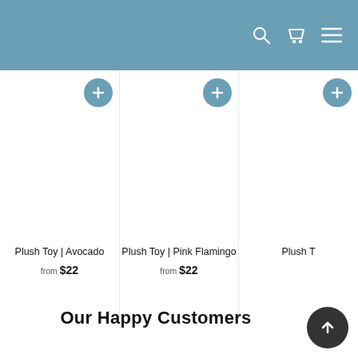Navigation header with search, cart, and menu icons
[Figure (screenshot): Product card for Plush Toy | Avocado with a + add button, white product image area]
Plush Toy | Avocado
from $22
[Figure (screenshot): Product card for Plush Toy | Pink Flamingo with a + add button, white product image area]
Plush Toy | Pink Flamingo
from $22
[Figure (screenshot): Partially visible third product card labeled Plush T... with a + add button]
Our Happy Customers